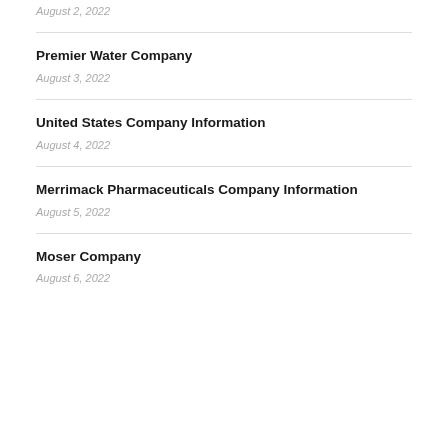August 2, 2022
Premier Water Company
August 3, 2022
United States Company Information
August 4, 2022
Merrimack Pharmaceuticals Company Information
August 5, 2022
Moser Company
August 6, 2022